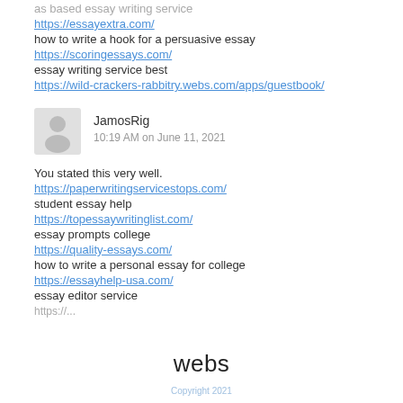as based essay writing service
https://essayextra.com/
how to write a hook for a persuasive essay
https://scoringessays.com/
essay writing service best
https://wild-crackers-rabbitry.webs.com/apps/guestbook/
[Figure (illustration): Generic user avatar icon — grey silhouette of a person]
JamosRig
10:19 AM on June 11, 2021
You stated this very well.
https://paperwritingservicestops.com/
student essay help
https://topessaywritinglist.com/
essay prompts college
https://quality-essays.com/
how to write a personal essay for college
https://essayhelp-usa.com/
essay editor service
webs